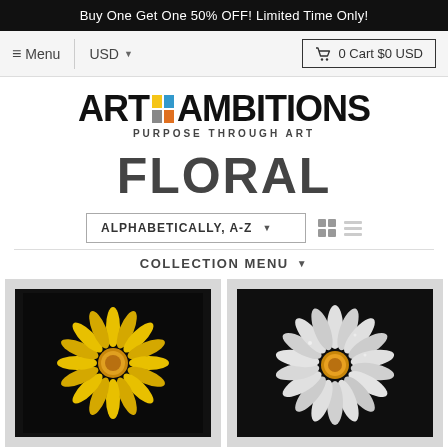Buy One Get One 50% OFF! Limited Time Only!
≡ Menu | USD ▾ | 🛒 0 Cart $0 USD
[Figure (logo): Art Ambitions logo with colored squares and tagline 'Purpose Through Art']
FLORAL
ALPHABETICALLY, A-Z ▾
COLLECTION MENU ▾
[Figure (photo): Yellow daisy flower on black background, framed with light grey mat]
[Figure (photo): White daisy flower on black background, framed with light grey mat]